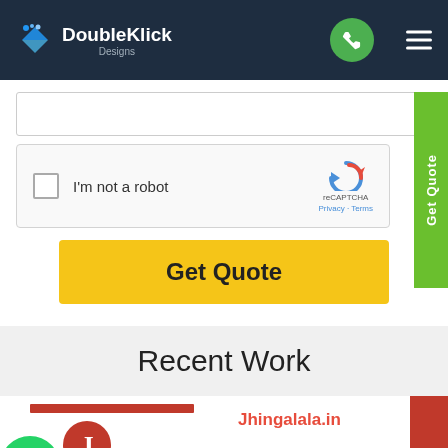[Figure (screenshot): DoubleKlick Designs navigation bar with logo, phone button, and hamburger menu on dark navy background]
[Figure (screenshot): reCAPTCHA widget with checkbox labeled I'm not a robot, reCAPTCHA logo, Privacy and Terms links]
Get Quote
Get Quote
Recent Work
[Figure (screenshot): Portfolio item showing a red bar and J seal logo for Jhingalala.in with WhatsApp button]
Jhingalala.in